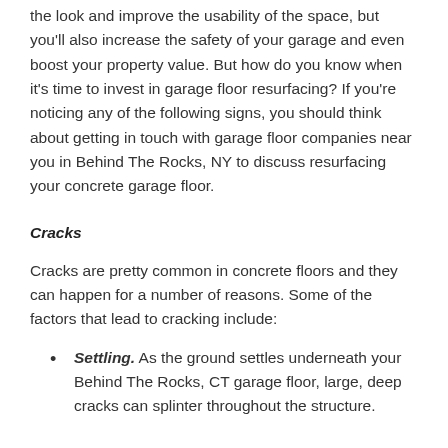the look and improve the usability of the space, but you'll also increase the safety of your garage and even boost your property value. But how do you know when it's time to invest in garage floor resurfacing? If you're noticing any of the following signs, you should think about getting in touch with garage floor companies near you in Behind The Rocks, NY to discuss resurfacing your concrete garage floor.
Cracks
Cracks are pretty common in concrete floors and they can happen for a number of reasons. Some of the factors that lead to cracking include:
Settling. As the ground settles underneath your Behind The Rocks, CT garage floor, large, deep cracks can splinter throughout the structure.